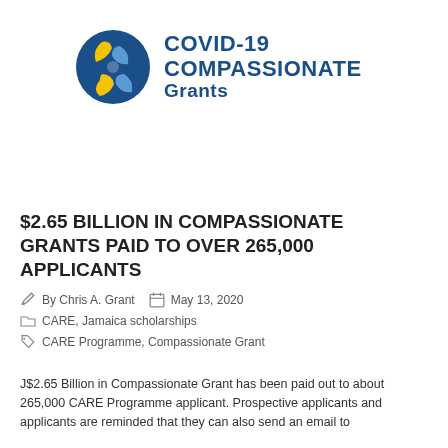[Figure (logo): COVID-19 Compassionate Grants logo with circular blue and yellow hand/leaf motif on the left and bold blue text 'COVID-19 COMPASSIONATE Grants' on the right]
$2.65 BILLION IN COMPASSIONATE GRANTS PAID TO OVER 265,000 APPLICANTS
By Chris A. Grant   May 13, 2020
CARE, Jamaica scholarships
CARE Programme, Compassionate Grant
J$2.65 Billion in Compassionate Grant has been paid out to about 265,000 CARE Programme applicant. Prospective applicants and applicants are reminded that they can also send an email to